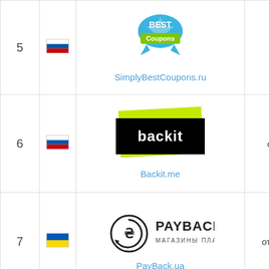| # | Flag | Service | Min. payout | Payment methods |
| --- | --- | --- | --- | --- |
| 5 | RU | SimplyBestCoupons.ru | 20$ | - MoneyG...
- PayPal
- QIWI ко...
- Western...
- Банковс...
- Яндекс.Д... |
| 6 | RU | Backit.me | от 0.2$ | - PayPal
- QIWI ко...
- WebMon...
- Банковс...
- Мобильн...
- Яндекс.Д... |
| 7 | UA | PayBack.ua | от 10 грн. | - WebMon...
- Банковс...
- Мобильн... |
| 8 |  |  |  |  |